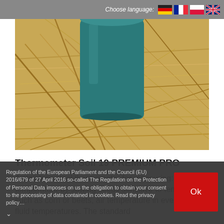Choose language:
[Figure (photo): A teal/green cylindrical pot or thermometer probe casing placed on dry straw/hay, photographed close-up outdoors.]
Thermometer Soil 19 PREMIUM PRO
A stainless steel thermometer for measuring: soil temperature by sowing seeds sensitive to temperature such as corn or beets, air temperature in every room, fluid temperatures. The standard
Regulation of the European Parliament and the Council (EU) 2016/679 of 27 April 2016 so-called The Regulation on the Protection of Personal Data imposes on us the obligation to obtain your consent to the processing of data contained in cookies. Read the privacy policy…